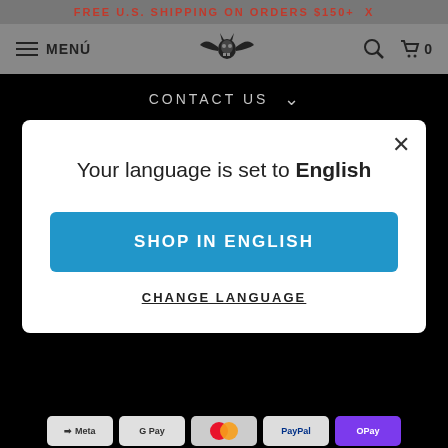FREE U.S. SHIPPING ON ORDERS $150+  X
[Figure (screenshot): Website navbar with hamburger menu icon, MENÚ label, brand logo (winged skull), search icon, and cart icon with 0 count]
CONTACT US
Your language is set to English
SHOP IN ENGLISH
CHANGE LANGUAGE
[Figure (screenshot): Payment method icons: Meta Pay, Google Pay, Mastercard, PayPal, GPay, Venmo, Visa]